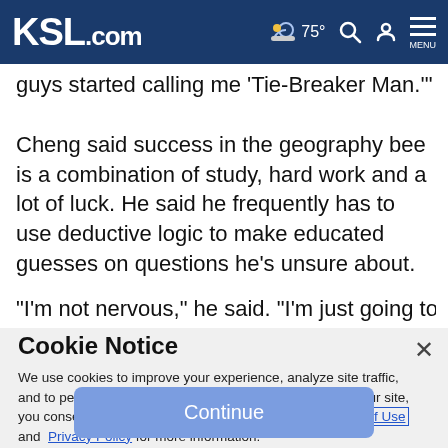KSL.com  75°  MENU
guys started calling me 'Tie-Breaker Man.'"
Cheng said success in the geography bee is a combination of study, hard work and a lot of luck. He said he frequently has to use deductive logic to make educated guesses on questions he's unsure about.
"I'm not nervous," he said. "I'm just going to go out there and
Cookie Notice
We use cookies to improve your experience, analyze site traffic, and to personalize content and ads. By continuing to use our site, you consent to our use of cookies. Please visit our Terms of Use and Privacy Policy for more information.
Continue